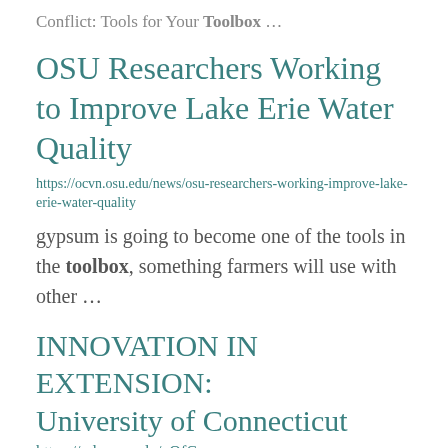Conflict: Tools for Your Toolbox …
OSU Researchers Working to Improve Lake Erie Water Quality
https://ocvn.osu.edu/news/osu-researchers-working-improve-lake-erie-water-quality
gypsum is going to become one of the tools in the toolbox, something farmers will use with other …
INNOVATION IN EXTENSION: University of Connecticut
https://pde.osu.edu/uOfConn
food system movement across Connecticut off the ground and will help to ...